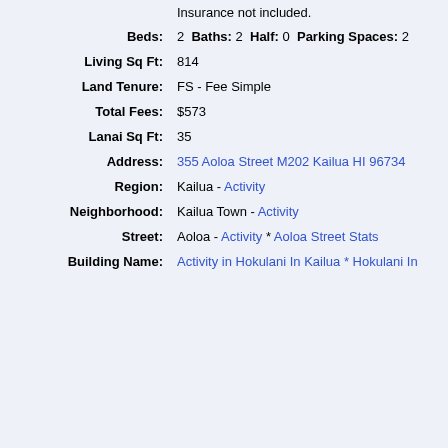Insurance not included.
Beds: 2  Baths: 2  Half: 0  Parking Spaces: 2
Living Sq Ft: 814
Land Tenure: FS - Fee Simple
Total Fees: $573
Lanai Sq Ft: 35
Address: 355 Aoloa Street M202 Kailua HI 96734
Region: Kailua - Activity
Neighborhood: Kailua Town - Activity
Street: Aoloa - Activity * Aoloa Street Stats
Building Name: Activity in Hokulani In Kailua * Hokulani In